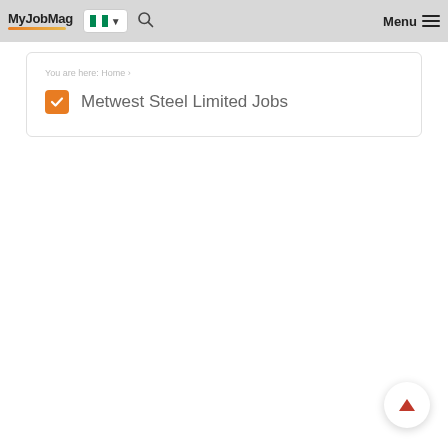MyJobMag — Menu navigation bar with Nigerian flag country selector and search icon
Metwest Steel Limited Jobs
[Figure (other): Scroll-to-top button (circular white button with orange arrow pointing up)]